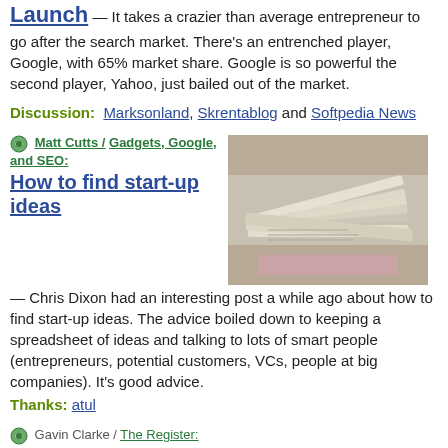Launch — It takes a crazier than average entrepreneur to go after the search market. There's an entrenched player, Google, with 65% market share. Google is so powerful the second player, Yahoo, just bailed out of the market.
Discussion: Marksonland, Skrentablog and Softpedia News
Matt Cutts / Gadgets, Google, and SEO:
How to find start-up ideas
[Figure (photo): A photo of a stack of papers or newspapers, possibly money-related documents, fanned out.]
— Chris Dixon had an interesting post a while ago about how to find start-up ideas. The advice boiled down to keeping a spreadsheet of ideas and talking to lots of smart people (entrepreneurs, potential customers, VCs, people at big companies). It's good advice.
Thanks: atul
Gavin Clarke / The Register:
Microsoft's Iron languages embrace 'official' open